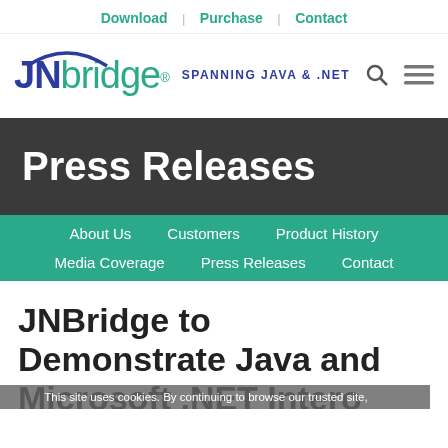Download | Purchase | Contact
[Figure (logo): JNBridge logo with arc and tagline SPANNING JAVA & .NET, with search and menu icons]
Press Releases
About Us | Customers | Product History | Media Coverage | Press Releases | Contact
JNBridge to Demonstrate Java and Microsoft .NET Intero…
This site uses cookies. By continuing to browse our trusted site,